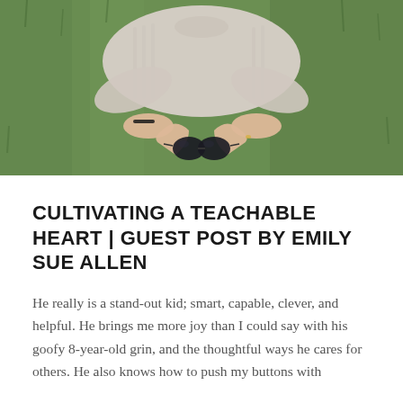[Figure (photo): Overhead view of a person lying on green grass, forming a heart shape with their hands, wearing a light knit sweater with a bracelet visible on one wrist.]
CULTIVATING A TEACHABLE HEART | GUEST POST BY EMILY SUE ALLEN
He really is a stand-out kid; smart, capable, clever, and helpful. He brings me more joy than I could say with his goofy 8-year-old grin, and the thoughtful ways he cares for others. He also knows how to push my buttons with